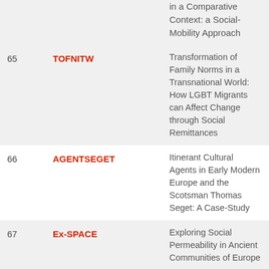| # | Code | Title |
| --- | --- | --- |
|  |  | in a Comparative Context: a Social-Mobility Approach |
| 65 | TOFNITW | Transformation of Family Norms in a Transnational World: How LGBT Migrants can Affect Change through Social Remittances |
| 66 | AGENTSEGET | Itinerant Cultural Agents in Early Modern Europe and the Scotsman Thomas Seget: A Case-Study |
| 67 | Ex-SPACE | Exploring Social Permeability in Ancient Communities of Europe |